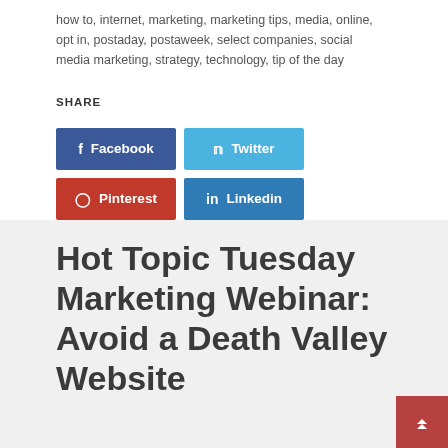how to, internet, marketing, marketing tips, media, online, opt in, postaday, postaweek, select companies, social media marketing, strategy, technology, tip of the day
SHARE
[Figure (other): Social share buttons: Facebook (dark blue), Twitter (light blue), Pinterest (red), Linkedin (blue)]
Hot Topic Tuesday Marketing Webinar: Avoid a Death Valley Website